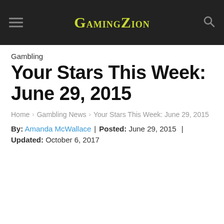GamingZion
Gambling
Your Stars This Week: June 29, 2015
Home > Gambling News > Your Stars This Week: June 29, 2015
By: Amanda McWallace | Posted: June 29, 2015 | Updated: October 6, 2017